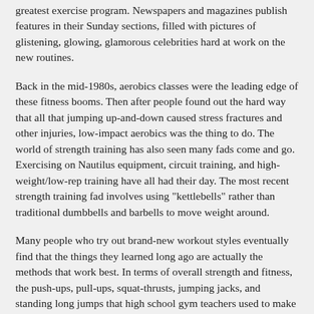greatest exercise program. Newspapers and magazines publish features in their Sunday sections, filled with pictures of glistening, glowing, glamorous celebrities hard at work on the new routines.
Back in the mid-1980s, aerobics classes were the leading edge of these fitness booms. Then after people found out the hard way that all that jumping up-and-down caused stress fractures and other injuries, low-impact aerobics was the thing to do. The world of strength training has also seen many fads come and go. Exercising on Nautilus equipment, circuit training, and high-weight/low-rep training have all had their day. The most recent strength training fad involves using "kettlebells" rather than traditional dumbbells and barbells to move weight around.
Many people who try out brand-new workout styles eventually find that the things they learned long ago are actually the methods that work best. In terms of overall strength and fitness, the push-ups, pull-ups, squat-thrusts, jumping jacks, and standing long jumps that high school gym teachers used to make us do were actually very good for us and still are very good.